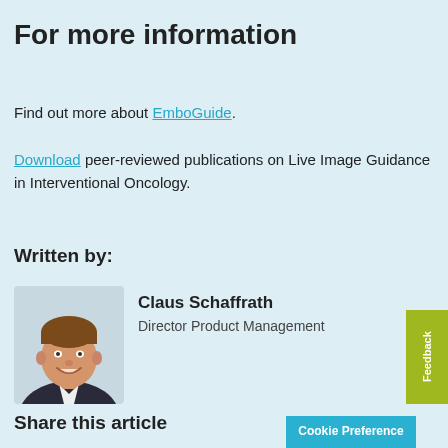For more information
Find out more about EmboGuide.
Download peer-reviewed publications on Live Image Guidance in Interventional Oncology.
Written by:
[Figure (photo): Headshot photo of Claus Schaffrath, smiling man in a suit]
Claus Schaffrath
Director Product Management
Share this article